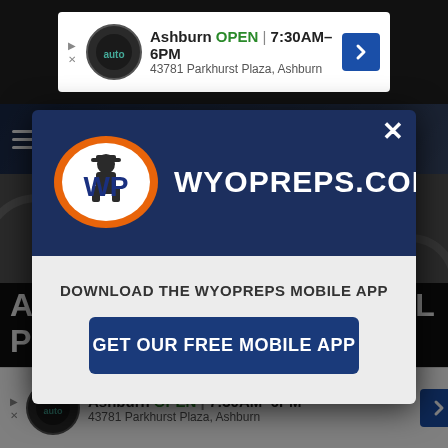[Figure (screenshot): Top advertisement banner: Ashburn auto business, OPEN 7:30AM–6PM, 43781 Parkhurst Plaza, Ashburn]
[Figure (logo): WyoPreps.com website header with hamburger menu and WP logo]
[Figure (screenshot): Modal dialog with WyoPreps.com logo (WP oval logo) and navy blue header, close button (×)]
DOWNLOAD THE WYOPREPS MOBILE APP
GET OUR FREE MOBILE APP
ABBIE ERRAMOUSPE WILL PLAY TENNIS
[Figure (screenshot): Bottom advertisement banner: Ashburn auto business, OPEN 7:30AM–6PM, 43781 Parkhurst Plaza, Ashburn]